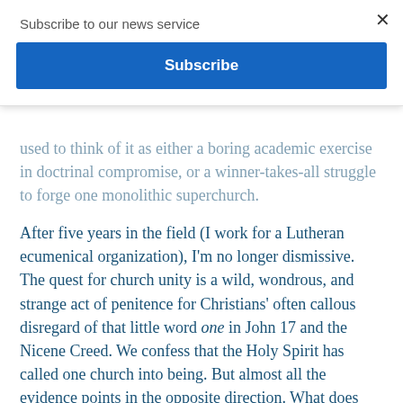Subscribe to our news service
Subscribe
used to think of it as either a boring academic exercise in doctrinal compromise, or a winner-takes-all struggle to forge one monolithic superchurch.
After five years in the field (I work for a Lutheran ecumenical organization), I'm no longer dismissive. The quest for church unity is a wild, wondrous, and strange act of penitence for Christians' often callous disregard of that little word one in John 17 and the Nicene Creed. We confess that the Holy Spirit has called one church into being. But almost all the evidence points in the opposite direction. What does this mean? And how should we respond to it?